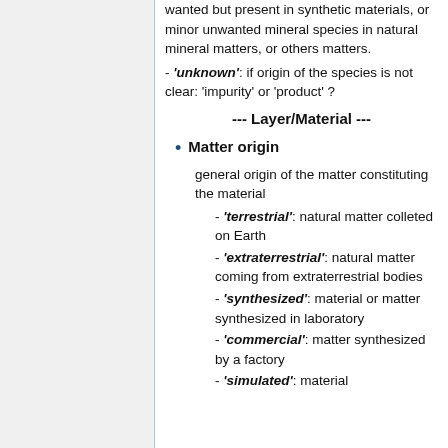wanted but present in synthetic materials, or minor unwanted mineral species in natural mineral matters, or others matters.
- 'unknown': if origin of the species is not clear: 'impurity' or 'product' ?
--- Layer/Material ---
Matter origin
general origin of the matter constituting the material
- 'terrestrial': natural matter colleted on Earth
- 'extraterrestrial': natural matter coming from extraterrestrial bodies
- 'synthesized': material or matter synthesized in laboratory
- 'commercial': matter synthesized by a factory
- 'simulated': material